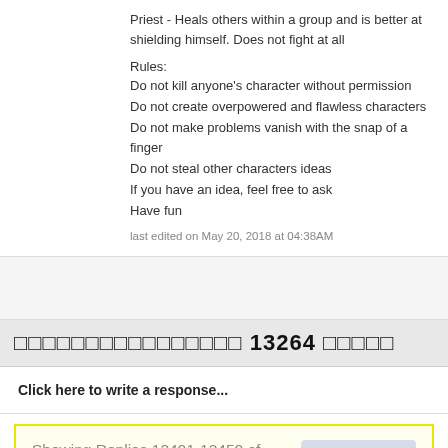Priest - Heals others within a group and is better at shielding himself. Does not fight at all
Rules:
Do not kill anyone's character without permission
Do not create overpowered and flawless characters
Do not make problems vanish with the snap of a finger
Do not steal other characters ideas
If you have an idea, feel free to ask
Have fun
last edited on May 20, 2018 at 04:38AM
□□□□□□□□□□□□□□□□ 13264 □□□□□
Click here to write a response...
Showing Replies 12401-12450 of 13264
Previous